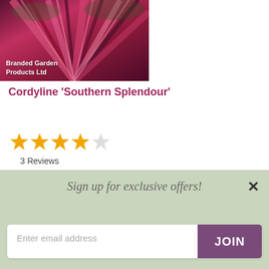[Figure (photo): Close-up photo of Cordyline 'Southern Splendour' plant with pink and dark purple striped leaves. Watermark reads 'Branded Garden Products Ltd']
Cordyline 'Southern Splendour'
[Figure (other): 4-star rating out of 5 stars]
3 Reviews
Sun shade: sun or semi shade
Grows in: Borders
Flower Colour: Cream
Sign up for exclusive offers!
Enter email address
JOIN